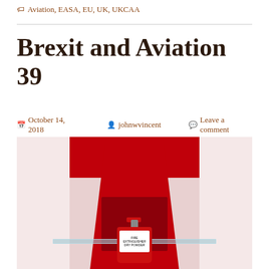Aviation, EASA, EU, UK, UKCAA
Brexit and Aviation 39
October 14, 2018  johnwvincent  Leave a comment
[Figure (photo): A red and white display cabinet or wall installation resembling a Union Jack color scheme, with a red niche/cutout containing a glass shelf and a red fire extinguisher at the bottom.]